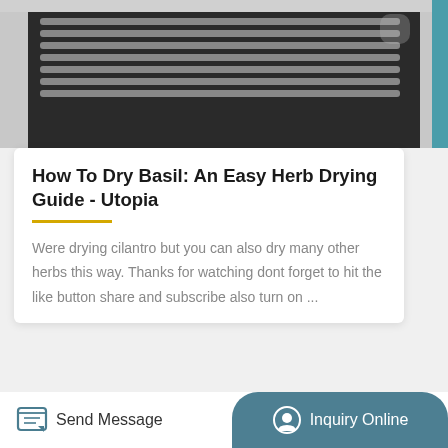[Figure (photo): Close-up photo of a metal drying rack or oven vent interior, showing metallic grid/slat structure with dark background.]
How To Dry Basil: An Easy Herb Drying Guide - Utopia
Were drying cilantro but you can also dry many other herbs this way. Thanks for watching dont forget to hit the like button share and subscribe also turn on ...
[Figure (photo): Partial photo of a white drying appliance or food dehydrator.]
Send Message
Inquiry Online